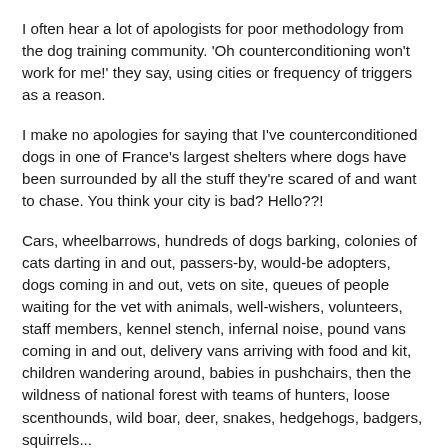I often hear a lot of apologists for poor methodology from the dog training community. 'Oh counterconditioning won't work for me!' they say, using cities or frequency of triggers as a reason.
I make no apologies for saying that I've counterconditioned dogs in one of France's largest shelters where dogs have been surrounded by all the stuff they're scared of and want to chase. You think your city is bad? Hello??!
Cars, wheelbarrows, hundreds of dogs barking, colonies of cats darting in and out, passers-by, would-be adopters, dogs coming in and out, vets on site, queues of people waiting for the vet with animals, well-wishers, volunteers, staff members, kennel stench, infernal noise, pound vans coming in and out, delivery vans arriving with food and kit, children wandering around, babies in pushchairs, then the wildness of national forest with teams of hunters, loose scenthounds, wild boar, deer, snakes, hedgehogs, badgers, squirrels...